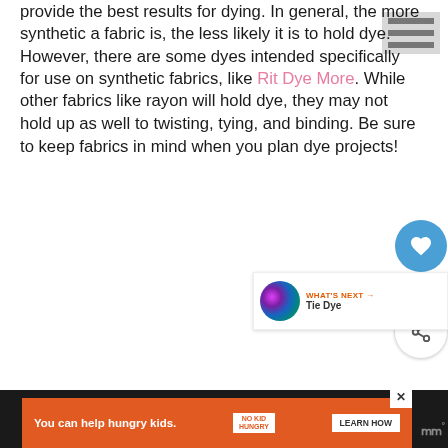provide the best results for dying. In general, the more synthetic a fabric is, the less likely it is to hold dye. However, there are some dyes intended specifically for use on synthetic fabrics, like Rit Dye More. While other fabrics like rayon will hold dye, they may not hold up as well to twisting, tying, and binding. Be sure to keep fabrics in mind when you plan dye projects!
[Figure (screenshot): Mobile website UI overlay elements: hamburger menu icon top right, heart/like button with count 5, share button, and a 'What's Next - Tie Dye' recommendation card with colorful thumbnail]
[Figure (screenshot): Orange advertisement banner: 'You can help hungry kids.' with No Kid Hungry logo and 'LEARN HOW' button. Dark background with WW logo on right.]